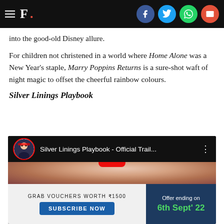F. [social icons: Facebook, Twitter, WhatsApp, Email]
into the good-old Disney allure.
For children not christened in a world where Home Alone was a New Year's staple, Marry Poppins Returns is a sure-shot waft of night magic to offset the cheerful rainbow colours.
Silver Linings Playbook
[Figure (screenshot): YouTube video embed showing Silver Linings Playbook - Official Trail... with a close-up of a woman's face and a play button. Below is a promotional banner: Grab Vouchers Worth ₹1500 / SUBSCRIBE NOW | Offer ending on 6th Sept' 22]